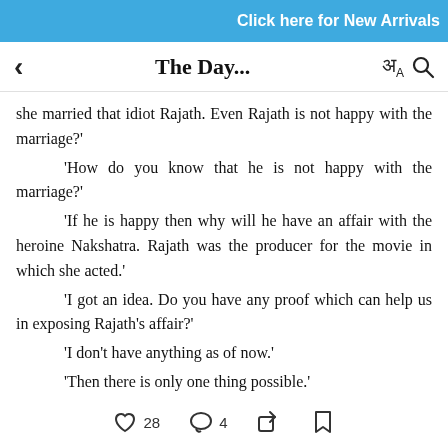Click here for New Arrivals
< The Day... अA 🔍
she married that idiot Rajath. Even Rajath is not happy with the marriage?'
'How do you know that he is not happy with the marriage?'
'If he is happy then why will he have an affair with the heroine Nakshatra. Rajath was the producer for the movie in which she acted.'
'I got an idea. Do you have any proof which can help us in exposing Rajath's affair?'
'I don't have anything as of now.'
'Then there is only one thing possible.'
'What is that?'
'We need to hire an informer.'
♡ 28  ◯ 4  ↗  🔖